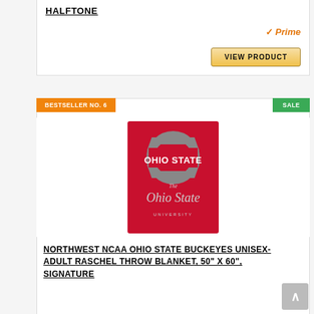HALFTONE
[Figure (screenshot): Amazon Prime badge and VIEW PRODUCT button]
BESTSELLER NO. 6
SALE
[Figure (photo): Ohio State Buckeyes Signature throw blanket product image - red blanket with Ohio State logo and script]
NORTHWEST NCAA OHIO STATE BUCKEYES UNISEX-ADULT RASCHEL THROW BLANKET, 50" X 60", SIGNATURE